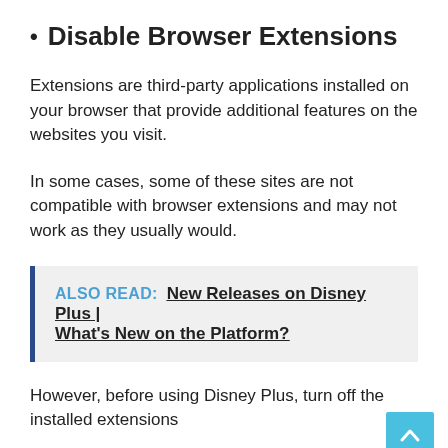Disable Browser Extensions
Extensions are third-party applications installed on your browser that provide additional features on the websites you visit.
In some cases, some of these sites are not compatible with browser extensions and may not work as they usually would.
ALSO READ:  New Releases on Disney Plus | What's New on the Platform?
However, before using Disney Plus, turn off the installed extensions